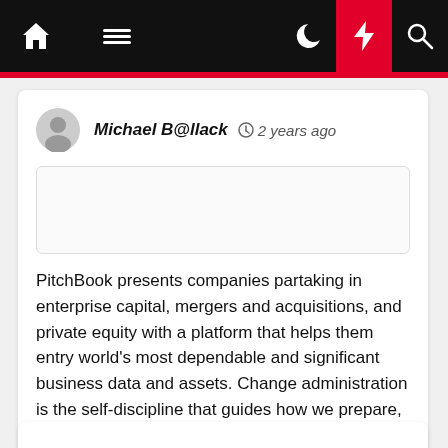Navigation bar with home, menu, moon, bolt, and search icons
Michael B@llack  2 years ago
[Figure (other): Rectangular image placeholder with light border]
PitchBook presents companies partaking in enterprise capital, mergers and acquisitions, and private equity with a platform that helps them entry world's most dependable and significant business data and assets. Change administration is the self-discipline that guides how we prepare, equip and assist individuals to successfully undertake change to be able [...]